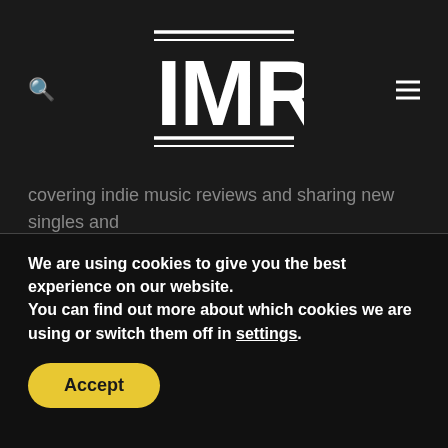IMR
...covering indie music reviews and sharing new singles and music videos.  We attempt to review most of the albums on the site, and are always looking for your feedback on the albums we review.  Don't let it be said that we are trying to be especially special, just honest, and somewhat available.
We are using cookies to give you the best experience on our website.
You can find out more about which cookies we are using or switch them off in settings.
Accept